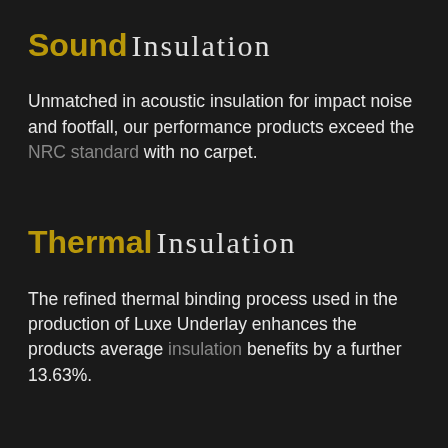Sound Insulation
Unmatched in acoustic insulation for impact noise and footfall, our performance products exceed the NRC standard with no carpet.
Thermal Insulation
The refined thermal binding process used in the production of Luxe Underlay enhances the products average insulation benefits by a further 13.63%.
Reclaimed Foam
Unlike mixed foam chip carpet pad, Luxe Underlay products are heavily reduced in foreign